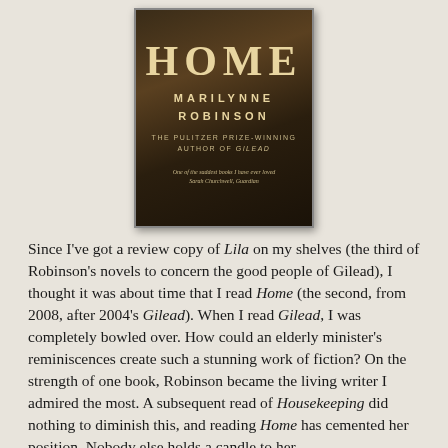[Figure (illustration): Book cover of 'Home' by Marilynne Robinson. Dark brown background with large serif title 'HOME', author name 'MARILYNNE ROBINSON', subtitle 'THE PULITZER PRIZE-WINNING AUTHOR OF GILEAD', and a quote 'One of the saddest books I have ever loved — Sarah Churchwell, Guardian'.]
Since I've got a review copy of Lila on my shelves (the third of Robinson's novels to concern the good people of Gilead), I thought it was about time that I read Home (the second, from 2008, after 2004's Gilead). When I read Gilead, I was completely bowled over. How could an elderly minister's reminiscences create such a stunning work of fiction? On the strength of one book, Robinson became the living writer I admired the most. A subsequent read of Housekeeping did nothing to diminish this, and reading Home has cemented her position. Nobody else holds a candle to her.
Home covers much of the same time period as Gilead, although it is not a requirement to have read the former